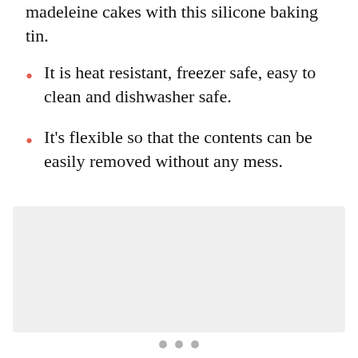madeleine cakes with this silicone baking tin.
It is heat resistant, freezer safe, easy to clean and dishwasher safe.
It's flexible so that the contents can be easily removed without any mess.
[Figure (other): Light gray rectangular image placeholder area, likely a product photo carousel slide]